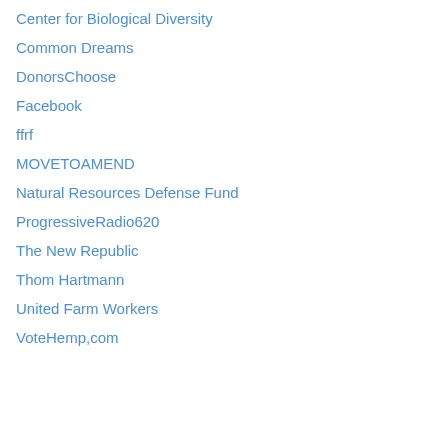Center for Biological Diversity
Common Dreams
DonorsChoose
Facebook
ffrf
MOVETOAMEND
Natural Resources Defense Fund
ProgressiveRadio620
The New Republic
Thom Hartmann
United Farm Workers
VoteHemp,com
Privacy & Cookies: This site uses cookies. By continuing to use this website, you agree to their use. To find out more, including how to control cookies, see here: Cookie Policy
Close and accept